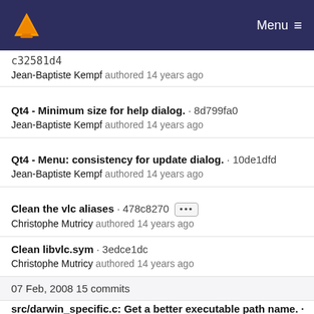VLC media player — Menu
c32581d4
Jean-Baptiste Kempf authored 14 years ago
Qt4 - Minimum size for help dialog. · 8d799fa0
Jean-Baptiste Kempf authored 14 years ago
Qt4 - Menu: consistency for update dialog. · 10de1dfd
Jean-Baptiste Kempf authored 14 years ago
Clean the vlc aliases · 478c8270 [...]
Christophe Mutricy authored 14 years ago
Clean libvlc.sym · 3edce1dc
Christophe Mutricy authored 14 years ago
07 Feb, 2008 15 commits
src/darwin_specific.c: Get a better executable path name. ·
67f3a523